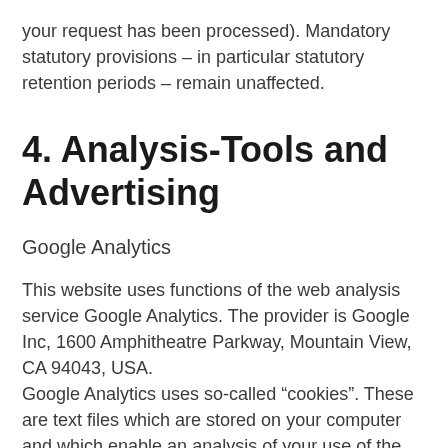your request has been processed). Mandatory statutory provisions – in particular statutory retention periods – remain unaffected.
4. Analysis-Tools and Advertising
Google Analytics
This website uses functions of the web analysis service Google Analytics. The provider is Google Inc, 1600 Amphitheatre Parkway, Mountain View, CA 94043, USA.
Google Analytics uses so-called “cookies”. These are text files which are stored on your computer and which enable an analysis of your use of the